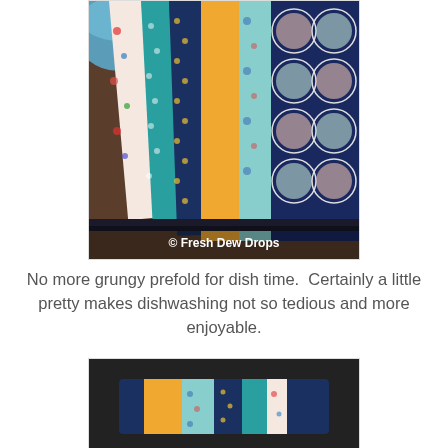[Figure (photo): Close-up photo of a colorful patchwork fabric mat/cloth with floral and dotted patterns in teal, navy, orange, and light blue. A blue bowl is partially visible in the top left. Watermark reads '© Fresh Dew Drops' at the bottom.]
No more grungy prefold for dish time.  Certainly a little pretty makes dishwashing not so tedious and more enjoyable.
[Figure (photo): Photo of a folded patchwork fabric cloth/dish rag on a dark surface, showing colorful floral and dotted fabric strips in teal, orange, and light blue.]